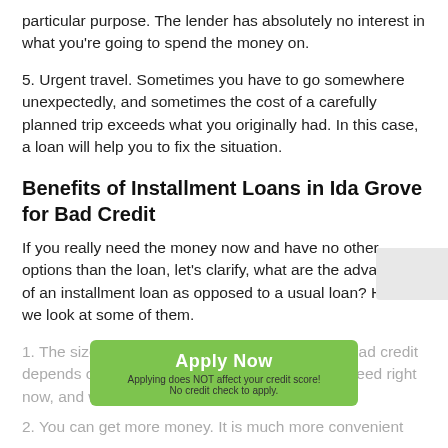particular purpose. The lender has absolutely no interest in what you're going to spend the money on.
5. Urgent travel. Sometimes you have to go somewhere unexpectedly, and sometimes the cost of a carefully planned trip exceeds what you originally had. In this case, a loan will help you to fix the situation.
Benefits of Installment Loans in Ida Grove for Bad Credit
If you really need the money now and have no other options than the loan, let's clarify, what are the advantages of an installment loan as opposed to a usual loan? Here we look at some of them.
1. The size of installment loans in Ida Grove for bad credit depends on your needs, how much money you need right now, and what time period you need to repay it.
2. You can get more money. It is much more convenient